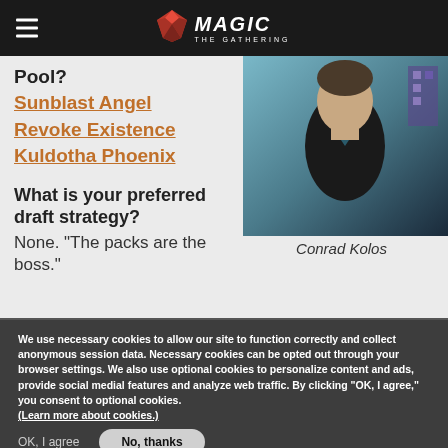Magic: The Gathering navigation bar
Pool?
Sunblast Angel
Revoke Existence
Kuldotha Phoenix
[Figure (photo): Photo of Conrad Kolos]
Conrad Kolos
What is your preferred draft strategy?
None. "The packs are the boss."
We use necessary cookies to allow our site to function correctly and collect anonymous session data. Necessary cookies can be opted out through your browser settings. We also use optional cookies to personalize content and ads, provide social medial features and analyze web traffic. By clicking “OK, I agree,” you consent to optional cookies. (Learn more about cookies.)
OK, I agree
No, thanks